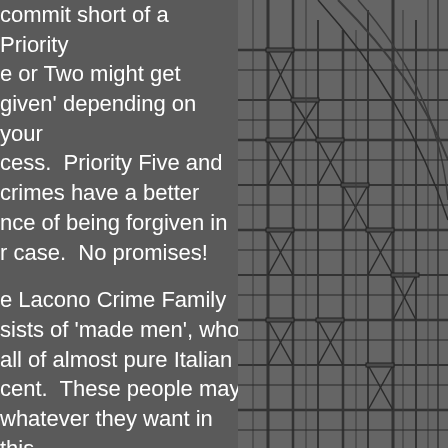commit short of a Priority e or Two might get given' depending on your cess. Priority Five and crimes have a better nce of being forgiven in r case. No promises!
e Lacono Crime Family sists of 'made men', who all of almost pure Italian cent. These people may whatever they want in this . As an outsider, crossing n will earn you a quick th. They are always right d you are always wrong in eyes of the authorities. ere are also 'associates'. ou are not a member of
[Figure (illustration): Black and white architectural or structural illustration showing complex scaffolding, building framework, or industrial structure with multiple levels and cross-beams, rendered in a detailed sketch style against a grey background.]